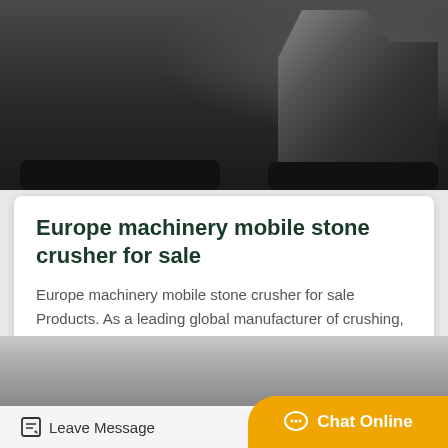[Figure (photo): Top photo strip showing a black tracked mobile stone crusher machine in an industrial setting]
Europe machinery mobile stone crusher for sale
Europe machinery mobile stone crusher for sale Products. As a leading global manufacturer of crushing, grinding and mining equipments, we offer advanced, reasonable solution…
Get Price
[Figure (photo): Bottom partial photo strip showing an industrial building or structure]
Leave Message
Chat Online